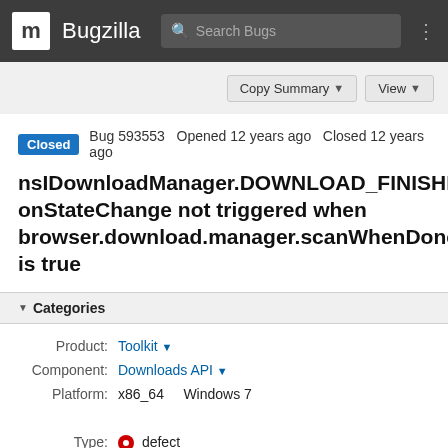m Bugzilla  Search Bugs
Copy Summary ▾  View ▾
Closed  Bug 593553  Opened 12 years ago  Closed 12 years ago
nsIDownloadManager.DOWNLOAD_FINISHED onStateChange not triggered when browser.download.manager.scanWhenDone is true
▾ Categories
Product: Toolkit ▾
Component: Downloads API ▾
Platform: x86_64  Windows 7
Type: ⊙ defect
Priority: Not set  Severity: normal
▾ Tracking
Status: RESOLVED INVALID